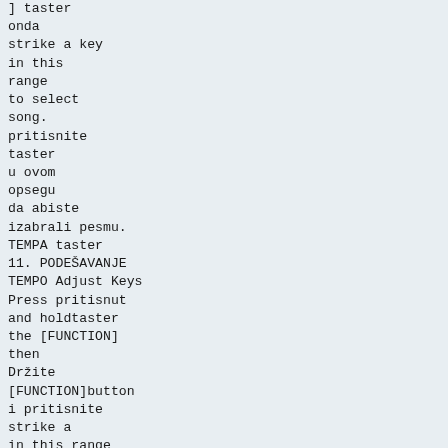] taster
onda
strike a key
in this
range
to select
song.
pritisnite
taster
u ovom
opsegu
da abiste
izabrali pesmu.
TEMPA taster
11. PODEŠAVANJE
TEMPO Adjust Keys
Press pritisnut
and holdtaster
the [FUNCTION]
then
Držite
[FUNCTION]button
i pritisnite
strike a
in this range
to adjusttempa.
the current
taster
zakey
podešavanje
trenutnog
tempo value.